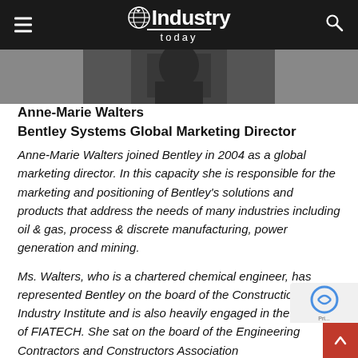Industry Today
[Figure (photo): Partial photo of a person, dark background, cropped at top of page]
Anne-Marie Walters
Bentley Systems Global Marketing Director
Anne-Marie Walters joined Bentley in 2004 as a global marketing director. In this capacity she is responsible for the marketing and positioning of Bentley’s solutions and products that address the needs of many industries including oil & gas, process & discrete manufacturing, power generation and mining.
Ms. Walters, who is a chartered chemical engineer, has represented Bentley on the board of the Construction Industry Institute and is also heavily engaged in the activities of FIATECH. She sat on the board of the Engineering Contractors and Constructors Association